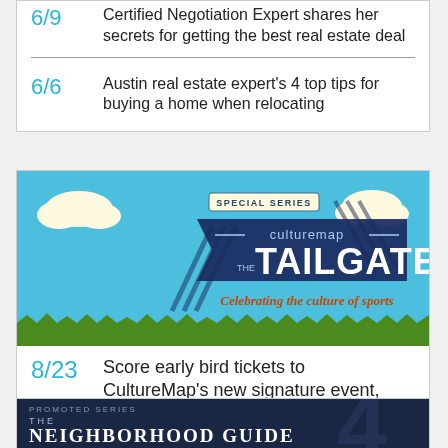6/9 — Certified Negotiation Expert shares her secrets for getting the best real estate deal
6/6 — Austin real estate expert's 4 top tips for buying a home when relocating
[Figure (illustration): CultureMap Special Series: The Tailgate — Celebrating the culture of sports. Sky blue background with clouds, grass, and diagonal stripe speech-bubble design.]
8/23 — Score early bird tickets to CultureMap's new signature event, The Tailgate
[Figure (illustration): Promoted Series: The Neighborhood Guide — dark navy background with large faint numeral watermark]